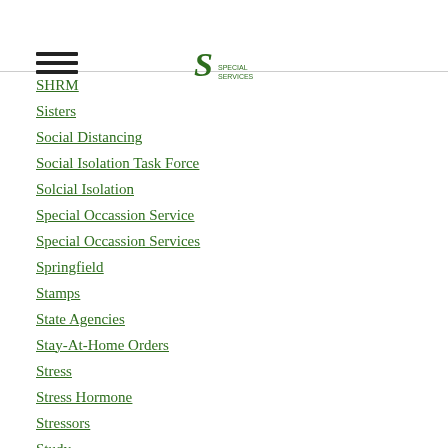SHRM
Sisters
Social Distancing
Social Isolation Task Force
Solcial Isolation
Special Occassion Service
Special Occassion Services
Springfield
Stamps
State Agencies
Stay-At-Home Orders
Stress
Stress Hormone
Stressors
Study
Sugar
Sundowner
Symptom